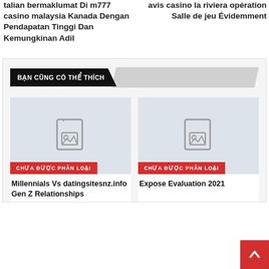talian bermaklumat Di m777 casino malaysia Kanada Dengan Pendapatan Tinggi Dan Kemungkinan Adil
avis casino la riviera opération Salle de jeu Évidemment
BẠN CŨNG CÓ THỂ THÍCH
[Figure (photo): Placeholder image thumbnail for article 1]
CHƯA ĐƯỢC PHÂN LOẠI
Millennials Vs datingsitesnz.info Gen Z Relationships
[Figure (photo): Placeholder image thumbnail for article 2]
CHƯA ĐƯỢC PHÂN LOẠI
Expose Evaluation 2021